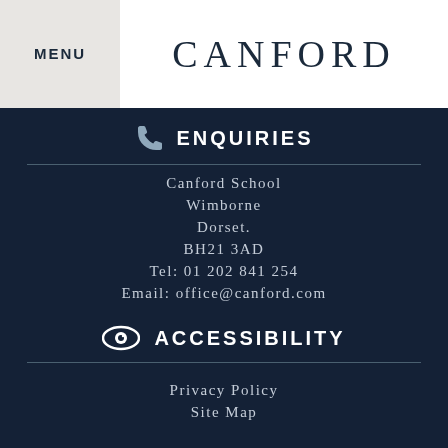MENU
CANFORD
ENQUIRIES
Canford School
Wimborne
Dorset.
BH21 3AD
Tel: 01 202 841 254
Email: office@canford.com
ACCESSIBILITY
Privacy Policy
Site Map